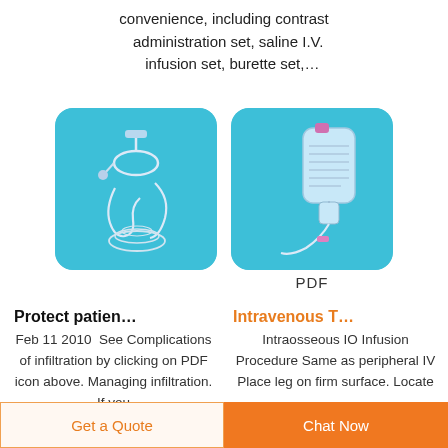convenience, including contrast administration set, saline I.V. infusion set, burette set,…
[Figure (photo): IV infusion set / tubing on blue background]
[Figure (photo): IV bag with tubing on blue background, labeled PDF]
PDF
Protect patien…
Intravenous T…
Feb 11 2010  See Complications of infiltration by clicking on PDF icon above. Managing infiltration. If you
Intraosseous IO Infusion Procedure Same as peripheral IV Place leg on firm surface. Locate
Get a Quote    Chat Now